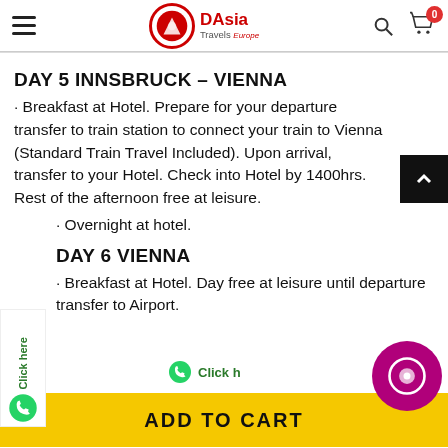DAsia Travels — navigation header with logo, search and cart icons
DAY 5 INNSBRUCK – VIENNA
· Breakfast at Hotel. Prepare for your departure transfer to train station to connect your train to Vienna (Standard Train Travel Included). Upon arrival, transfer to your Hotel. Check into Hotel by 1400hrs. Rest of the afternoon free at leisure.
· Overnight at hotel.
DAY 6 VIENNA
· Breakfast at Hotel. Day free at leisure until departure transfer to Airport.